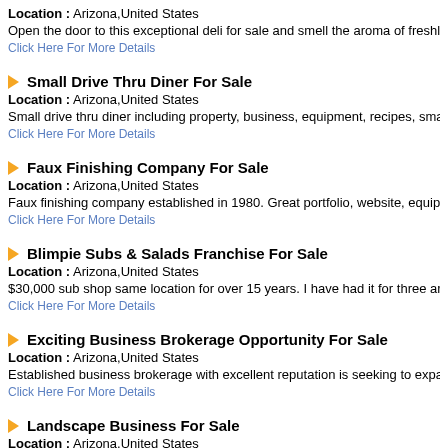Location : Arizona,United States
Open the door to this exceptional deli for sale and smell the aroma of freshl
Click Here For More Details
Small Drive Thru Diner For Sale
Location : Arizona,United States
Small drive thru diner including property, business, equipment, recipes, sma
Click Here For More Details
Faux Finishing Company For Sale
Location : Arizona,United States
Faux finishing company established in 1980. Great portfolio, website, equip
Click Here For More Details
Blimpie Subs & Salads Franchise For Sale
Location : Arizona,United States
$30,000 sub shop same location for over 15 years. I have had it for three ar
Click Here For More Details
Exciting Business Brokerage Opportunity For Sale
Location : Arizona,United States
Established business brokerage with excellent reputation is seeking to expa
Click Here For More Details
Landscape Business For Sale
Location : Arizona,United States
Commercia l and residential landscape. As related to landscape with